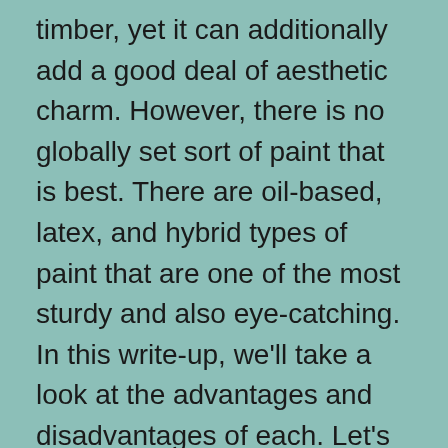timber, yet it can additionally add a good deal of aesthetic charm. However, there is no globally set sort of paint that is best. There are oil-based, latex, and hybrid types of paint that are one of the most sturdy and also eye-catching. In this write-up, we'll take a look at the advantages and disadvantages of each. Let's explore the very best options for fence paint and also their benefits.
One Layer is an easy-to-apply fence paint that comes in six natural wood shades. It is quickly applied by brush or spray. A five-litre tin covers 6 conventional fence panels and also offers 2